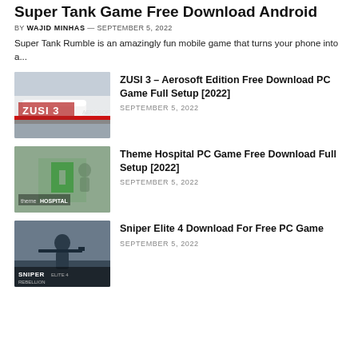Super Tank Game Free Download Android
BY WAJID MINHAS — SEPTEMBER 5, 2022
Super Tank Rumble is an amazingly fun mobile game that turns your phone into a...
[Figure (photo): ZUSI 3 train simulator game cover image with a white train]
ZUSI 3 – Aerosoft Edition Free Download PC Game Full Setup [2022]
SEPTEMBER 5, 2022
[Figure (photo): Theme Hospital game cover with green medical cross symbol]
Theme Hospital PC Game Free Download Full Setup [2022]
SEPTEMBER 5, 2022
[Figure (photo): Sniper Elite 4 game cover with a soldier holding a sniper rifle]
Sniper Elite 4 Download For Free PC Game
SEPTEMBER 5, 2022